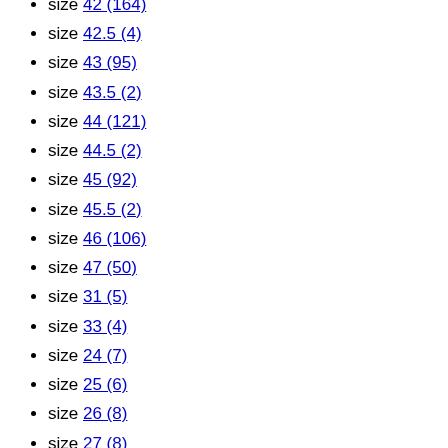size 42 (164)
size 42.5 (4)
size 43 (95)
size 43.5 (2)
size 44 (121)
size 44.5 (2)
size 45 (92)
size 45.5 (2)
size 46 (106)
size 47 (50)
size 31 (5)
size 33 (4)
size 24 (7)
size 25 (6)
size 26 (8)
size 27 (8)
size 28 (10)
size 29 (7)
size 48 (32)
size XXS (100)
size XS (208)
size S (282)
size M (263)
size L (231)
size XL (96)